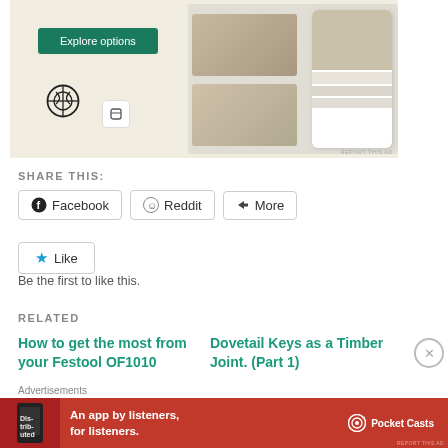[Figure (screenshot): Advertisement banner with 'Explore options' green button, WordPress logo, and food app mockup images on beige background. 'REPORT THIS AD' text in bottom right.]
SHARE THIS:
Facebook  Reddit  More
Like
Be the first to like this.
RELATED
How to get the most from your Festool OF1010
Dovetail Keys as a Timber Joint. (Part 1)
Advertisements
[Figure (screenshot): Red advertisement banner for Pocket Casts: 'An app by listeners, for listeners.' with app phone image and Pocket Casts logo]